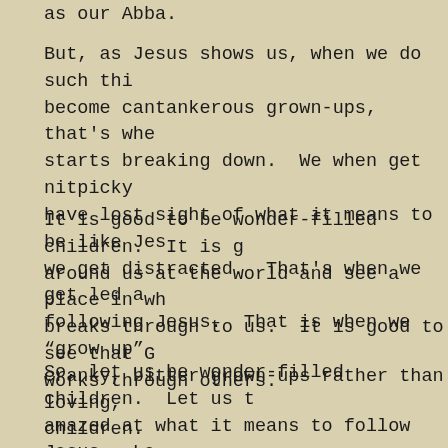as our Abba.
But, as Jesus shows us, when we do such things, become cantankerous grown-ups, that's when starts breaking down.  We when get nitpicky have lost sight of what it means to be like Jesus, we get distracted.  That's when we get led away following Jesus.  That is when we "grow up" cranky, bitter grown-ups rather than loving, children.
It is good to be wonder-filled children.  It is good around us at the world and see a place in which God breaks through to us.  It is good to see that God works through others.
So, let us be wonder-filled children.  Let us be amazed at what it means to follow Jesus.  Le